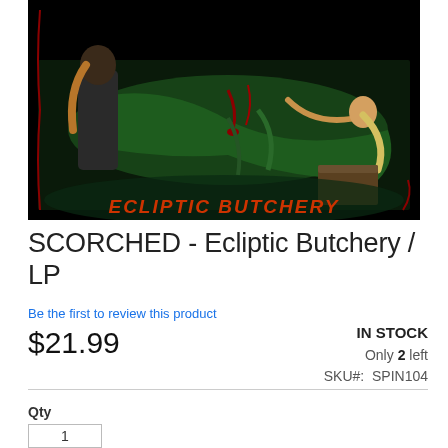[Figure (illustration): Album cover art for SCORCHED - Ecliptic Butchery. Dark gothic illustration on black background showing figures in a dungeon-like setting with green fabric/dress, blood, and the text 'ECLIPTIC BUTCHERY' in red jagged lettering at the bottom.]
SCORCHED - Ecliptic Butchery / LP
Be the first to review this product
$21.99
IN STOCK
Only 2 left
SKU#:  SPIN104
Qty
1